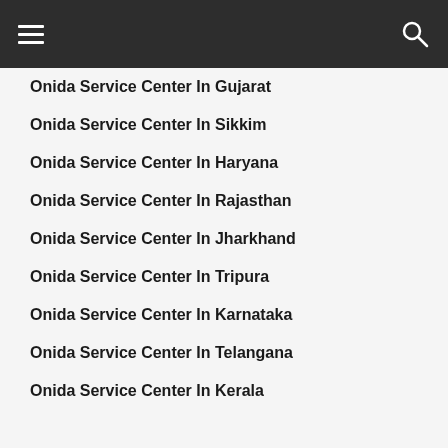≡  🔍
Onida Service Center In Gujarat
Onida Service Center In Sikkim
Onida Service Center In Haryana
Onida Service Center In Rajasthan
Onida Service Center In Jharkhand
Onida Service Center In Tripura
Onida Service Center In Karnataka
Onida Service Center In Telangana
Onida Service Center In Kerala
Onida Service Center In Tamil Nadu
Onida Service Center In Manipur